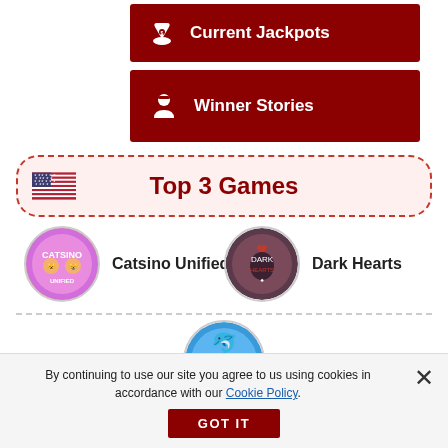Current Jackpots
Winner Stories
Top 3 Games
Catsino Unified
Dark Hearts
Whale O Winnings
By continuing to use our site you agree to us using cookies in accordance with our Cookie Policy.
GOT IT